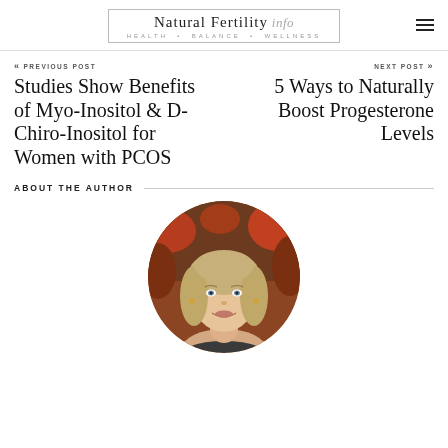Natural Fertility info — HEALTH • BALANCE • WELLNESS
« PREVIOUS POST — Studies Show Benefits of Myo-Inositol & D-Chiro-Inositol for Women with PCOS
NEXT POST » — 5 Ways to Naturally Boost Progesterone Levels
ABOUT THE AUTHOR
[Figure (photo): Circular portrait photo of the author, a blonde woman smiling, with autumn foliage in the background]